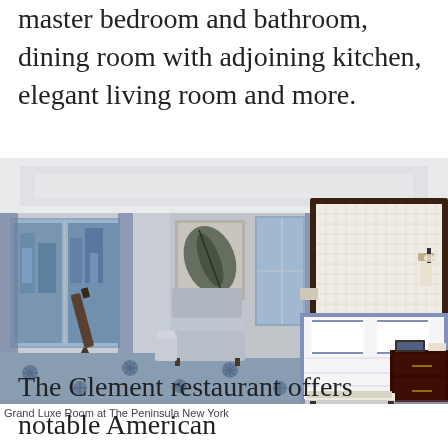master bedroom and bathroom, dining room with adjoining kitchen, elegant living room and more.
[Figure (photo): Luxury hotel room at The Peninsula New York showing a king bed with white linens and blue trim, decorative headboard, nightstands, sitting area with armchair and ottoman, blue patterned carpet, and city views through windows.]
Grand Luxe Room at The Peninsula New York
The Clement restaurant offers notable American